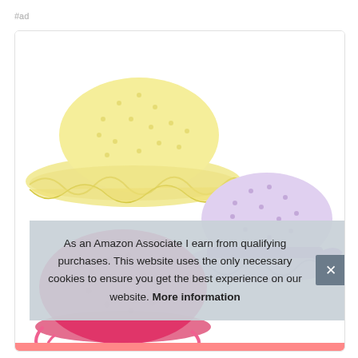#ad
[Figure (photo): Three colorful woven/crochet sun hats for children on a white background: a yellow floppy hat (top left), a purple/lavender hat with ribbon (right), and a pink hat (bottom left).]
As an Amazon Associate I earn from qualifying purchases. This website uses the only necessary cookies to ensure you get the best experience on our website. More information